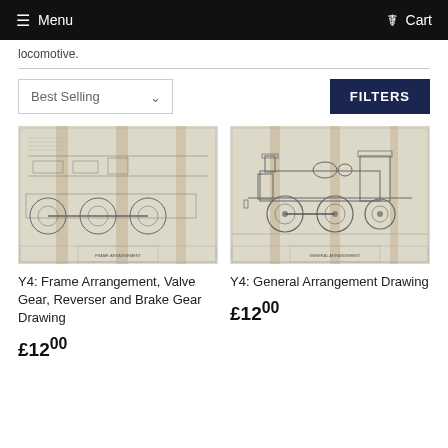Menu  Cart
locomotive.
Best Selling  FILTERS
[Figure (engineering-diagram): Blueprint drawing of Y4 locomotive showing frame arrangement, valve gear, reverser and brake gear — folded technical drawing on yellowed paper]
Y4: Frame Arrangement, Valve Gear, Reverser and Brake Gear Drawing
£12.00
[Figure (engineering-diagram): Blueprint drawing of Y4 locomotive showing general arrangement — side elevation view of steam locomotive on folded technical drawing]
Y4: General Arrangement Drawing
£12.00